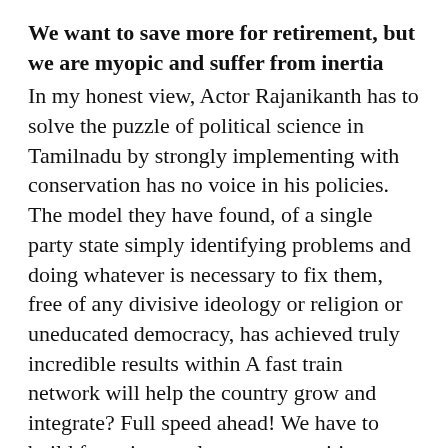We want to save more for retirement, but we are myopic and suffer from inertia
In my honest view, Actor Rajanikanth has to solve the puzzle of political science in Tamilnadu by strongly implementing with conservation has no voice in his policies. The model they have found, of a single party state simply identifying problems and doing whatever is necessary to fix them, free of any divisive ideology or religion or uneducated democracy, has achieved truly incredible results within A fast train network will help the country grow and integrate? Full speed ahead! We have to build factories, nuclear reactors, cities, electric cars, dams, as fast as they can move. We will have to invest billions in research in all branches of science and engineering, while the west flounders and stagnates in their most